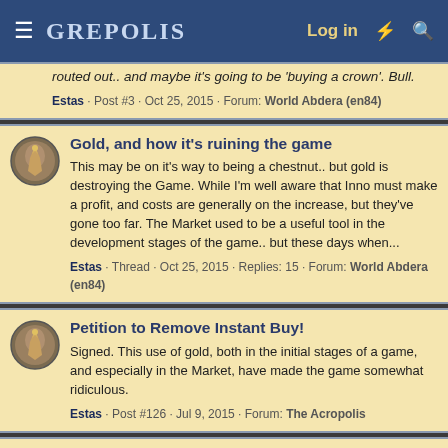GREPOLIS | Log in
routed out.. and maybe it's going to be 'buying a crown'. Bull.
Estas · Post #3 · Oct 25, 2015 · Forum: World Abdera (en84)
Gold, and how it's ruining the game
This may be on it's way to being a chestnut.. but gold is destroying the Game. While I'm well aware that Inno must make a profit, and costs are generally on the increase, but they've gone too far. The Market used to be a useful tool in the development stages of the game.. but these days when...
Estas · Thread · Oct 25, 2015 · Replies: 15 · Forum: World Abdera (en84)
Petition to Remove Instant Buy!
Signed. This use of gold, both in the initial stages of a game, and especially in the Market, have made the game somewhat ridiculous.
Estas · Post #126 · Jul 9, 2015 · Forum: The Acropolis
Petition to Stop "Warfare Packages" from